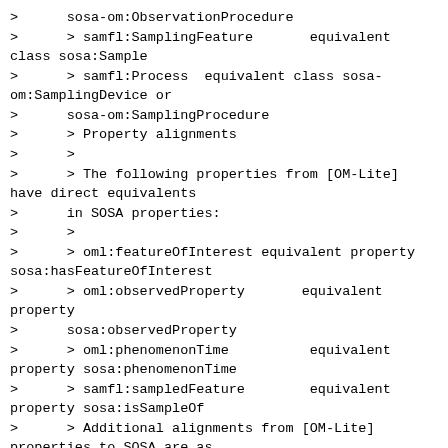>      sosa-om:ObservationProcedure
>      > samfl:SamplingFeature       equivalent class sosa:Sample
>      > samfl:Process  equivalent class sosa-om:SamplingDevice or
>      sosa-om:SamplingProcedure
>      > Property alignments
>      >
>      > The following properties from [OM-Lite] have direct equivalents
>      in SOSA properties:
>      >
>      > oml:featureOfInterest equivalent property sosa:hasFeatureOfInterest
>      > oml:observedProperty       equivalent property
>      sosa:observedProperty
>      > oml:phenomenonTime          equivalent property sosa:phenomenonTime
>      > samfl:sampledFeature        equivalent property sosa:isSampleOf
>      > Additional alignments from [OM-Lite] properties to SOSA are as
>      follows.
>      >
>      > oml:procedure          sub-property of sosa:usedProcedure
>      > samfl:samplingMethod   sub-property of  sosa:usedProcedure